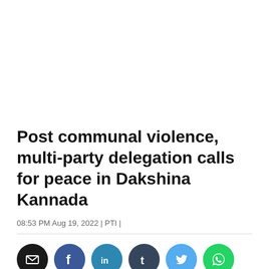Post communal violence, multi-party delegation calls for peace in Dakshina Kannada
08:53 PM Aug 19, 2022 | PTI |
[Figure (infographic): Row of six social media sharing icon circles: email (black), Facebook (blue), LinkedIn (teal-blue), Tumblr (dark blue-grey), Twitter (light blue), WhatsApp (green)]